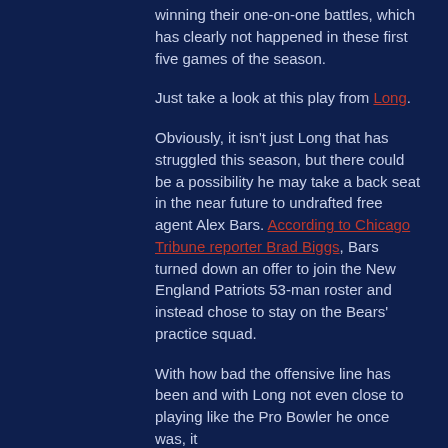winning their one-on-one battles, which has clearly not happened in these first five games of the season.
Just take a look at this play from Long.
Obviously, it isn't just Long that has struggled this season, but there could be a possibility he may take a back seat in the near future to undrafted free agent Alex Bars. According to Chicago Tribune reporter Brad Biggs, Bars turned down an offer to join the New England Patriots 53-man roster and instead chose to stay on the Bears' practice squad.
With how bad the offensive line has been and with Long not even close to playing like the Pro Bowler he once was, it